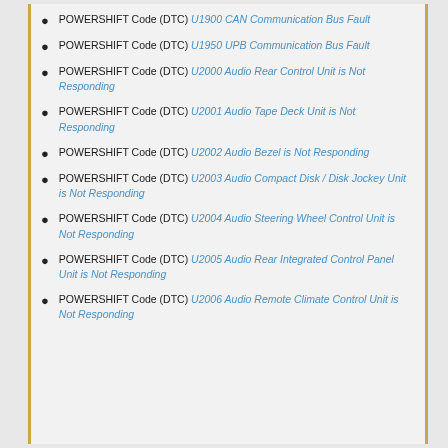POWERSHIFT Code (DTC) U1900 CAN Communication Bus Fault
POWERSHIFT Code (DTC) U1950 UPB Communication Bus Fault
POWERSHIFT Code (DTC) U2000 Audio Rear Control Unit is Not Responding
POWERSHIFT Code (DTC) U2001 Audio Tape Deck Unit is Not Responding
POWERSHIFT Code (DTC) U2002 Audio Bezel is Not Responding
POWERSHIFT Code (DTC) U2003 Audio Compact Disk / Disk Jockey Unit is Not Responding
POWERSHIFT Code (DTC) U2004 Audio Steering Wheel Control Unit is Not Responding
POWERSHIFT Code (DTC) U2005 Audio Rear Integrated Control Panel Unit is Not Responding
POWERSHIFT Code (DTC) U2006 Audio Remote Climate Control Unit is Not Responding